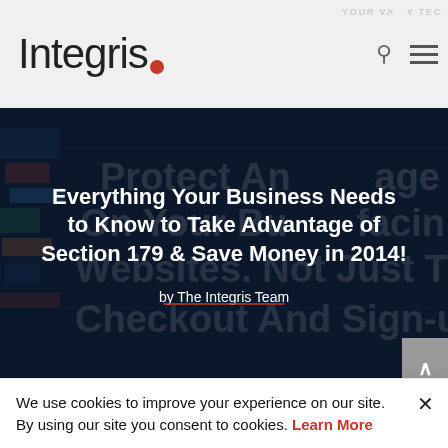Integris.
[Figure (screenshot): Dark tech/data visualization hero banner image with blue tones showing code/data displays in background]
Everything Your Business Needs to Know to Take Advantage of Section 179 & Save Money in 2014!
by The Integris Team
October 20, 2014
#Uncategorized
We use cookies to improve your experience on our site. By using our site you consent to cookies. Learn More